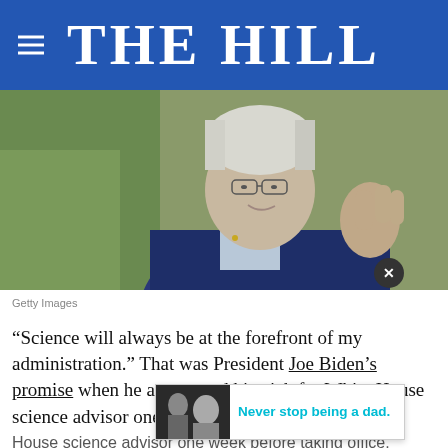THE HILL
[Figure (photo): Photograph of a smiling older man with white/grey hair wearing a dark blue suit jacket, raising his hand. Background is blurred green outdoor setting.]
Getty Images
“Science will always be at the forefront of my administration.” That was President Joe Biden’s promise when he announced his pick for White House science advisor one week before taking office. Trump waited 10 months to nominate a science
[Figure (advertisement): Advertisement overlay showing a black-and-white photo of a man with a young boy and text reading 'Never stop being a dad.' in cyan/teal color.]